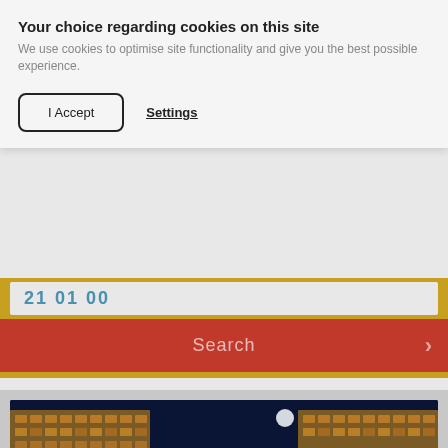Your choice regarding cookies on this site
We use cookies to optimise site functionality and give you the best possible experience.
I Accept
Settings
21 01 00
Search
[Figure (photo): Night view of a resort hotel with illuminated pool area, two large hotel buildings on either side, fountains in the pool, moonlit sky in the background]
[Figure (photo): Four thumbnail images of the hotel: exterior/pool area, activities/sports, water park with blue equipment, and partial fourth image]